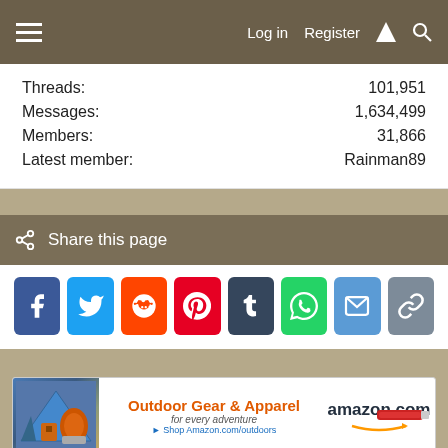Log in  Register
| Label | Value |
| --- | --- |
| Threads: | 101,951 |
| Messages: | 1,634,499 |
| Members: | 31,866 |
| Latest member: | Rainman89 |
Share this page
[Figure (infographic): Social share buttons: Facebook, Twitter, Reddit, Pinterest, Tumblr, WhatsApp, Email, Link]
[Figure (infographic): Amazon advertisement banner: Outdoor Gear & Apparel for every adventure. Shop Amazon.com/outdoors. amazon.com]
Feathers and Wings
Contact us  Terms of Use  Privacy policy  Help  Home